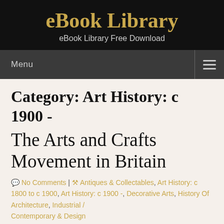eBook Library
eBook Library Free Download
Menu
Category: Art History: c 1900 -
The Arts and Crafts Movement in Britain
No Comments | Antiques & Collectables, Art History: c 1800 to c 1900, Art History: c 1900 -, Decorative Arts, History Of Architecture, Industrial / Contemporary & Design